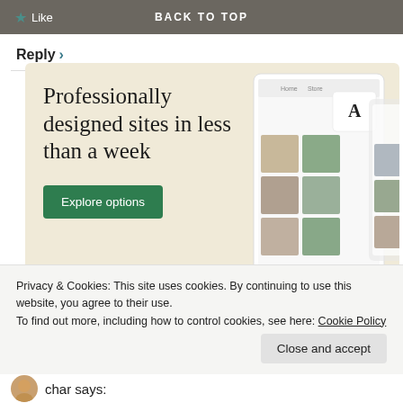★ Like   BACK TO TOP
Reply ›
[Figure (illustration): Advertisement banner with beige background. Large serif text reads 'Professionally designed sites in less than a week'. Green button labeled 'Explore options'. Right side shows device mockup screenshots of websites.]
Privacy & Cookies: This site uses cookies. By continuing to use this website, you agree to their use.
To find out more, including how to control cookies, see here: Cookie Policy
Close and accept
char says: